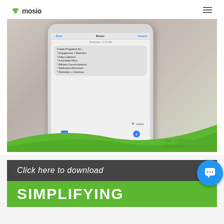[Figure (screenshot): Mosio branded webpage screenshot showing a hand holding a smartphone with an SMS conversation. The phone screen displays a Mosio text message listing: Create Programs for... Engagement + Retention, Data Collection, Automated Alerts, Efficient Communications, Medication Reminders, Motivation + Incentives. Green swoosh decorative element at bottom. Date: 11/20/2020, Quote/SOW: XYZ-2011 shown in green text at bottom right.]
Date: 11/20/2020
Quote/SOW: XYZ-2011
Click here to download
SIMPLIFYING